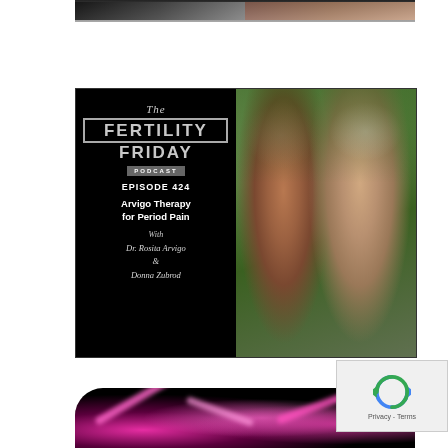[Figure (photo): Top cropped image strip showing two people from the Fertility Friday podcast]
[Figure (infographic): The Fertility Friday Podcast Episode 424 - Arvigo Therapy for Period Pain with Dr. Rosita Arvigo and Donna Zubrod. Black panel on left with text, photo of two smiling women on right against green background.]
[Figure (photo): Bottom rounded image with pink/magenta glowing abstract shapes on dark background]
[Figure (other): reCAPTCHA widget with recycling-arrows icon and Privacy - Terms text]